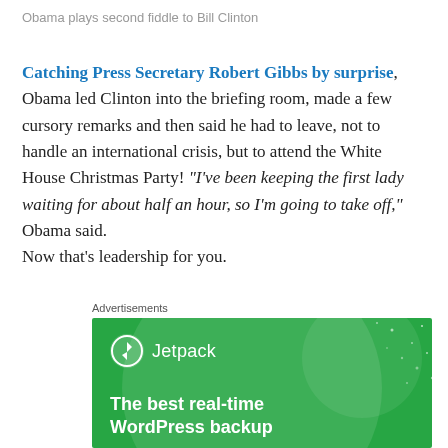Obama plays second fiddle to Bill Clinton
Catching Press Secretary Robert Gibbs by surprise, Obama led Clinton into the briefing room, made a few cursory remarks and then said he had to leave, not to handle an international crisis, but to attend the White House Christmas Party! “I’ve been keeping the first lady waiting for about half an hour, so I’m going to take off,” Obama said.
Now that’s leadership for you.
Advertisements
[Figure (other): Jetpack advertisement banner with green background, showing Jetpack logo and tagline 'The best real-time WordPress backup']